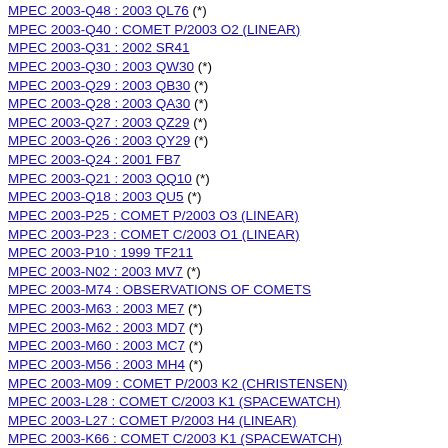MPEC 2003-Q48 : 2003 QL76 (*)
MPEC 2003-Q40 : COMET P/2003 O2 (LINEAR)
MPEC 2003-Q31 : 2002 SR41
MPEC 2003-Q30 : 2003 QW30 (*)
MPEC 2003-Q29 : 2003 QB30 (*)
MPEC 2003-Q28 : 2003 QA30 (*)
MPEC 2003-Q27 : 2003 QZ29 (*)
MPEC 2003-Q26 : 2003 QY29 (*)
MPEC 2003-Q24 : 2001 FB7
MPEC 2003-Q21 : 2003 QQ10 (*)
MPEC 2003-Q18 : 2003 QU5 (*)
MPEC 2003-P25 : COMET P/2003 O3 (LINEAR)
MPEC 2003-P23 : COMET C/2003 O1 (LINEAR)
MPEC 2003-P10 : 1999 TF211
MPEC 2003-N02 : 2003 MV7 (*)
MPEC 2003-M74 : OBSERVATIONS OF COMETS
MPEC 2003-M63 : 2003 ME7 (*)
MPEC 2003-M62 : 2003 MD7 (*)
MPEC 2003-M60 : 2003 MC7 (*)
MPEC 2003-M56 : 2003 MH4 (*)
MPEC 2003-M09 : COMET P/2003 K2 (CHRISTENSEN)
MPEC 2003-L28 : COMET C/2003 K1 (SPACEWATCH)
MPEC 2003-L27 : COMET P/2003 H4 (LINEAR)
MPEC 2003-K66 : COMET C/2003 K1 (SPACEWATCH)
MPEC 2003-K65 : COMET C/2003 J1 (NEAT)
MPEC 2003-K62 : COMET C/2003 J2 (NEAT)